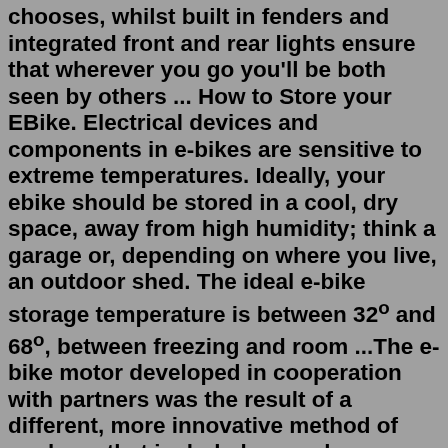chooses, whilst built in fenders and integrated front and rear lights ensure that wherever you go you'll be both seen by others ... How to Store your EBike. Electrical devices and components in e-bikes are sensitive to extreme temperatures. Ideally, your ebike should be stored in a cool, dry space, away from high humidity; think a garage or, depending on where you live, an outdoor shed. The ideal e-bike storage temperature is between 32° and 68°, between freezing and room ...The e-bike motor developed in cooperation with partners was the result of a different, more innovative method of work, on that included several groups of associates. The assembly is constructed of several complex parts and is highly sophisticated. ... Technological solutions have placed the new drive at the very top of performance in the global ...250 Series Electric Bike Kit. The 250 Series Electric Bike Kit is simple, reliable, and will give you ample power to speed up hills with very little effort! This is the e bike kit that made us famous. The 250 Series Kit can be installed in as little as 5 minutes. It's